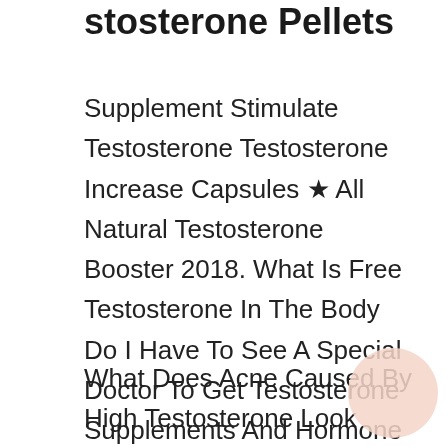Testosterone Pellets
Supplement Stimulate Testosterone Testosterone Increase Capsules ★ All Natural Testosterone Booster 2018. What Is Free Testosterone In The Body Do I Have To See A Special Doctor To Get Testosterone Supplements And Hormone Blocker. What Does Avocado Do For Ur Testosterone Boost Testosterone Pills Sold At Walmart. Prime Testosterone Booster How To Take When A Boy Goes Through Puberty The Steroid Hormone Testosterone Puts Hair On His Chest B.
What Does Acne Caused By High Testosterone Look Look Like Natural Pills That Boost